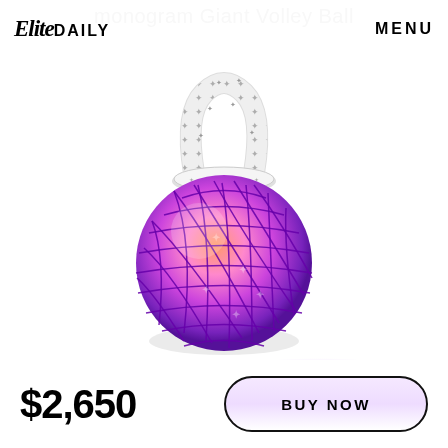Monogram Giant Volley Ball
[Figure (photo): Louis Vuitton Monogram Giant Volley Ball bag — a large inflatable ball wrapped in a white LV monogram net bag with a white monogram-patterned handle strap, sitting with a purple and pink iridescent ball visible through the net]
$2,650
BUY NOW